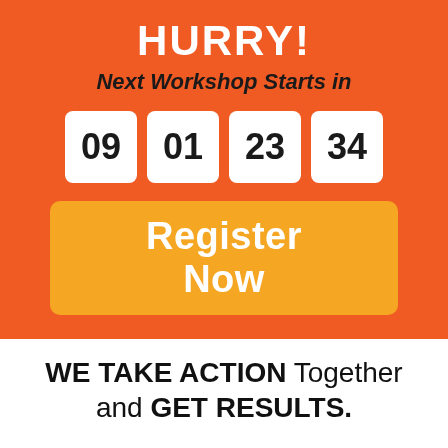HURRY!
Next Workshop Starts in
[Figure (other): Countdown timer showing four white boxes with numbers: 09, 01, 23, 34]
[Figure (other): Orange button labeled 'Register Now']
WE TAKE ACTION Together and GET RESULTS.
I will show you what to do
and then we do it TOGETHER